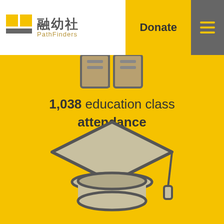[Figure (logo): PathFinders / 融幼社 logo with yellow square icon and grey bar]
Donate
[Figure (infographic): Yellow background section with graduation cap icon and stat: 1,038 education class attendance]
1,038 education class attendance